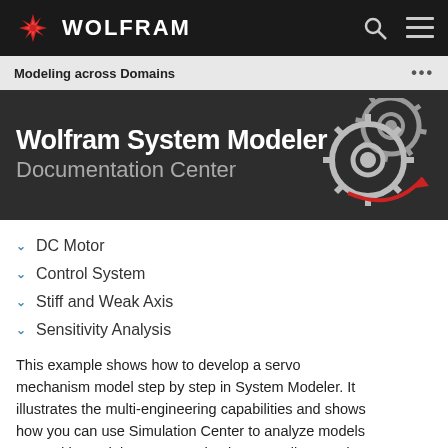WOLFRAM
Modeling across Domains
[Figure (screenshot): Wolfram System Modeler Documentation Center hero banner with gear icon]
DC Motor
Control System
Stiff and Weak Axis
Sensitivity Analysis
This example shows how to develop a servo mechanism model step by step in System Modeler. It illustrates the multi-engineering capabilities and shows how you can use Simulation Center to analyze models created in Model Center, synthesize controllers, and carry out comparison studies.